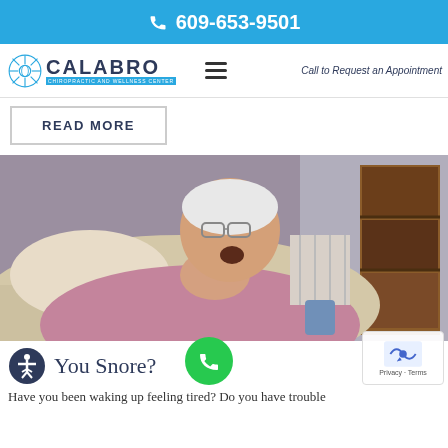609-653-9501
[Figure (logo): Calabro Chiropractic and Wellness Center logo with circular sun/shell icon above the text CALABRO]
Call to Request an Appointment
READ MORE
[Figure (photo): Elderly man with white hair and glasses sleeping/snoring in a chair with mouth open, wearing a pink shirt, bookshelf visible in background]
You Snore?
Have you been waking up feeling tired? Do you have trouble